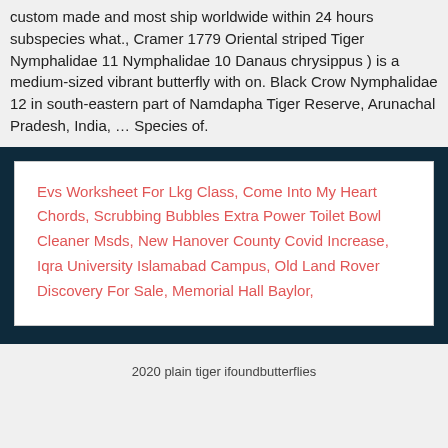custom made and most ship worldwide within 24 hours subspecies what., Cramer 1779 Oriental striped Tiger Nymphalidae 11 Nymphalidae 10 Danaus chrysippus ) is a medium-sized vibrant butterfly with on. Black Crow Nymphalidae 12 in south-eastern part of Namdapha Tiger Reserve, Arunachal Pradesh, India, … Species of.
Evs Worksheet For Lkg Class, Come Into My Heart Chords, Scrubbing Bubbles Extra Power Toilet Bowl Cleaner Msds, New Hanover County Covid Increase, Iqra University Islamabad Campus, Old Land Rover Discovery For Sale, Memorial Hall Baylor,
2020 plain tiger ifoundbutterflies